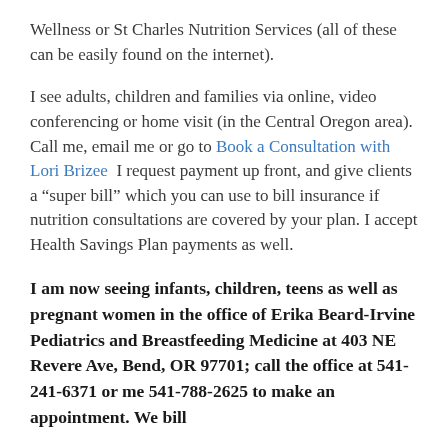Wellness or St Charles Nutrition Services (all of these can be easily found on the internet).
I see adults, children and families via online, video conferencing or home visit (in the Central Oregon area). Call me, email me or go to Book a Consultation with Lori Brizee  I request payment up front, and give clients a “super bill” which you can use to bill insurance if nutrition consultations are covered by your plan. I accept Health Savings Plan payments as well.
I am now seeing infants, children, teens as well as pregnant women in the office of Erika Beard-Irvine Pediatrics and Breastfeeding Medicine at 403 NE Revere Ave, Bend, OR 97701; call the office at 541-241-6371 or me 541-788-2625 to make an appointment. We bill